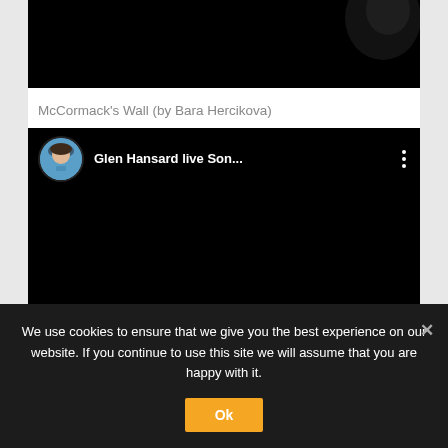[Figure (screenshot): Dark/black video thumbnail at the top of the page]
McCormack's Wall (by Bara Hercikova)
[Figure (screenshot): YouTube embedded video player showing 'Glen Hansard live Son...' with user avatar (woman in blue) and three-dot menu, video area is black]
We use cookies to ensure that we give you the best experience on our website. If you continue to use this site we will assume that you are happy with it.
Ok